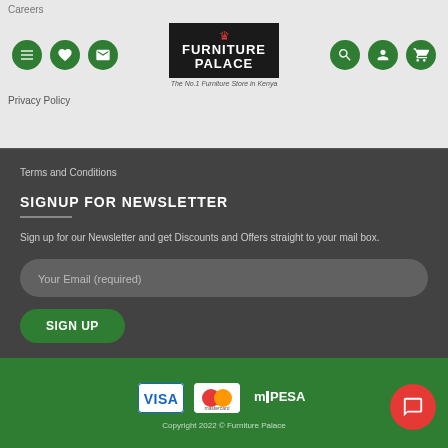Careers
[Figure (logo): Furniture Palace logo - The No.1 Furniture Store in Kenya]
Privacy Policy
Terms and Conditions
SIGNUP FOR NEWSLETTER
Sign up for our Newsletter and get Discounts and Offers straight to your mail box.
Your Email (required)
SIGN UP
[Figure (logo): Payment logos: VISA, Mastercard, M-Pesa]
Copyright 2022 © Furniture Palace